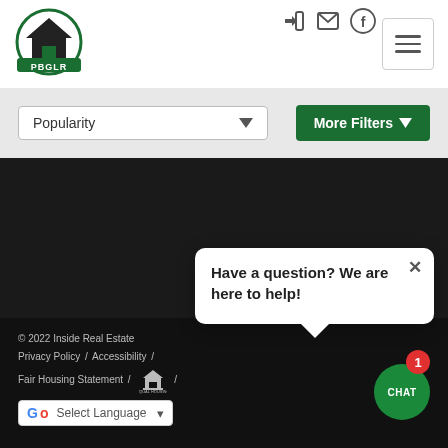[Figure (logo): PBGLR real estate logo: circular green badge with house silhouette and banner]
[Figure (screenshot): Header navigation icons: login arrow, envelope/mail, Facebook circle icon]
[Figure (screenshot): Hamburger menu button with three horizontal lines]
Popularity (dropdown selector)
More Filters ▾
Have a question? We are here to help!
© 2022 Inside Real Estate   Privacy Policy / Accessibility / Fair Housing Statement / [Equal Housing logo] / Select Language
[Figure (infographic): CHAT button (green circle) with red badge showing '1']